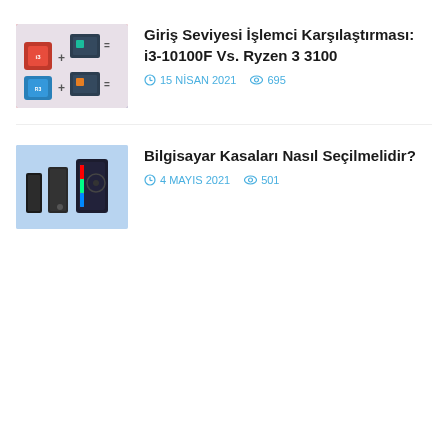[Figure (photo): Thumbnail showing CPU components with plus and equals signs — i3-10100F vs Ryzen 3 3100 comparison graphic]
Giriş Seviyesi İşlemci Karşılaştırması: i3-10100F Vs. Ryzen 3 3100
15 NİSAN 2021   695
[Figure (photo): Thumbnail showing multiple computer cases of different sizes on a purple/blue background]
Bilgisayar Kasaları Nasıl Seçilmelidir?
4 MAYIS 2021   501